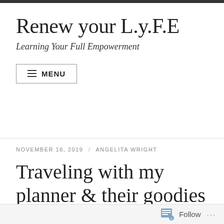Renew your L.y.F.E
Learning Your Full Empowerment
≡ MENU
NOVEMBER 16, 2019 / ANGELITA WRIGHT
Traveling with my planner & their goodies
Follow ...